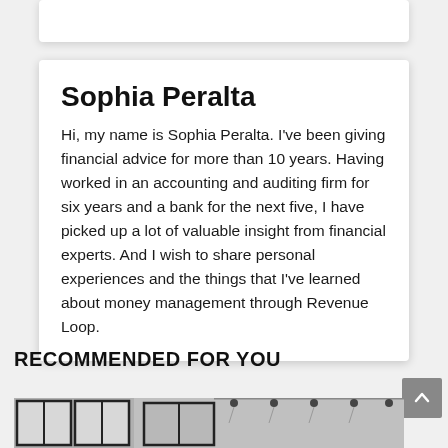Sophia Peralta
Hi, my name is Sophia Peralta. I've been giving financial advice for more than 10 years. Having worked in an accounting and auditing firm for six years and a bank for the next five, I have picked up a lot of valuable insight from financial experts. And I wish to share personal experiences and the things that I've learned about money management through Revenue Loop.
RECOMMENDED FOR YOU
[Figure (photo): Partial view of an interior space with large black-framed windows and ceiling track lights, black and white/grayscale photograph.]